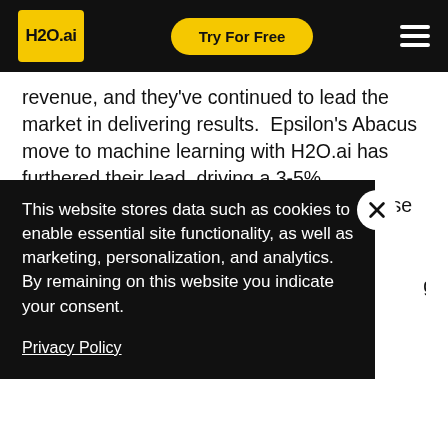H2O.ai | Try For Free
revenue, and they've continued to lead the market in delivering results.  Epsilon's Abacus move to machine learning with H2O.ai has furthered their lead, driving a 3-5% improvement in a clients direct mail response rate,.  That 3% translates into finding an average of 15,000 more highly relevant
This website stores data such as cookies to enable essential site functionality, as well as marketing, personalization, and analytics. By remaining on this website you indicate your consent.
Privacy Policy
Challenge
When customers want to run a marketing campaign, Abacus builds them a custom modeled